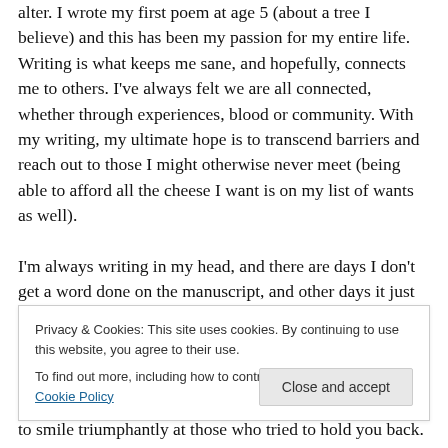alter. I wrote my first poem at age 5 (about a tree I believe) and this has been my passion for my entire life. Writing is what keeps me sane, and hopefully, connects me to others. I've always felt we are all connected, whether through experiences, blood or community. With my writing, my ultimate hope is to transcend barriers and reach out to those I might otherwise never meet (being able to afford all the cheese I want is on my list of wants as well).

I'm always writing in my head, and there are days I don't get a word done on the manuscript, and other days it just flows like a winding river, picking up it's own pace as I
Privacy & Cookies: This site uses cookies. By continuing to use this website, you agree to their use.
To find out more, including how to control cookies, see here: Cookie Policy
to smile triumphantly at those who tried to hold you back.